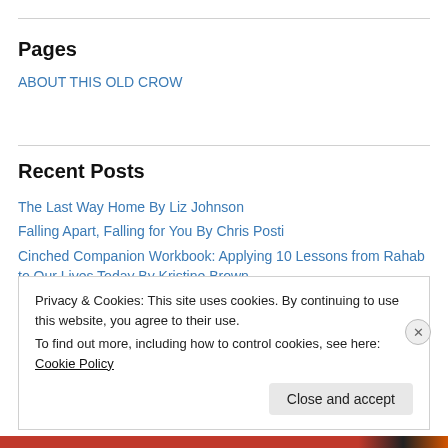Pages
ABOUT THIS OLD CROW
Recent Posts
The Last Way Home By Liz Johnson
Falling Apart, Falling for You By Chris Posti
Cinched Companion Workbook: Applying 10 Lessons from Rahab to Our Lives Today By Kristine Brown
Cinched: Living with Unwavering Trust in an Unfailing God By Kristine
Privacy & Cookies: This site uses cookies. By continuing to use this website, you agree to their use.
To find out more, including how to control cookies, see here: Cookie Policy
Close and accept